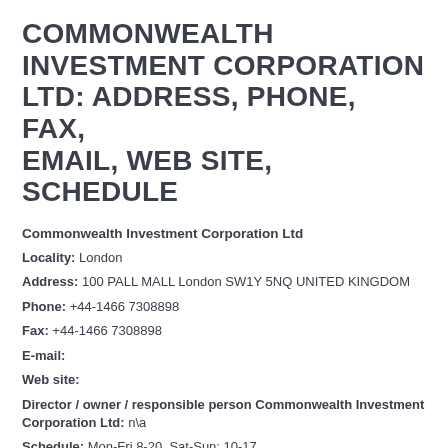COMMONWEALTH INVESTMENT CORPORATION LTD: ADDRESS, PHONE, FAX, EMAIL, WEB SITE, SCHEDULE
Commonwealth Investment Corporation Ltd
Locality: London
Address: 100 PALL MALL London SW1Y 5NQ UNITED KINGDOM
Phone: +44-1466 7308898
Fax: +44-1466 7308898
E-mail:
Web site:
Director / owner / responsible person Commonwealth Investment Corporation Ltd: n\a
Schedule: Mon-Fri 8-20, Sat-Sun: 10-17